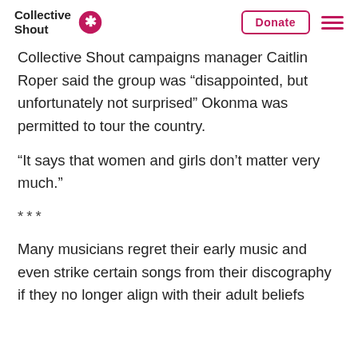Collective Shout
Collective Shout campaigns manager Caitlin Roper said the group was “disappointed, but unfortunately not surprised” Okonma was permitted to tour the country.
“It says that women and girls don’t matter very much.”
***
Many musicians regret their early music and even strike certain songs from their discography if they no longer align with their adult beliefs